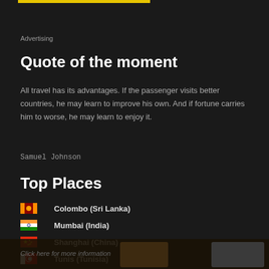Advertising
Quote of the moment
All travel has its advantages. If the passenger visits better countries, he may learn to improve his own. And if fortune carries him to worse, he may learn to enjoy it.
Samuel Johnson
Top Places
Colombo (Sri Lanka)
Mumbai (India)
Shanghai (China)
Tunis (Tunisia)
Seville (Spain)